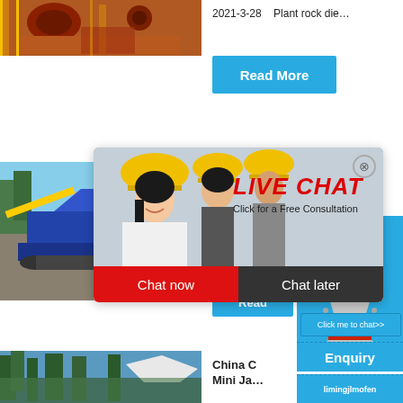[Figure (photo): Industrial rock crushing machine with orange and red mechanical parts, yellow frame structure visible]
2021-3-28    Plant rock die…
Read More
[Figure (photo): Construction/mining site with blue tracked mobile crushing plant and gravel/rock piles]
hour online
[Figure (photo): White cone crusher machine with red and black base components]
Read
Click me to chat>>
Enquiry
limingjlmofen
[Figure (photo): Forested area with trees and blue sky, partial image of logging or construction scene]
China C
Mini Ja…
[Figure (screenshot): Live chat popup overlay showing workers with yellow hard hats. Bold red italic text LIVE CHAT, subtitle Click for a Free Consultation, red Chat now button and dark Chat later button]